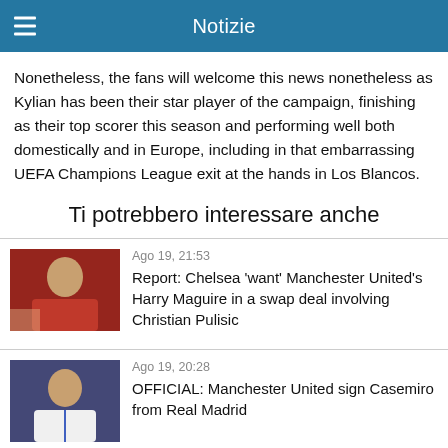Notizie
Nonetheless, the fans will welcome this news nonetheless as Kylian has been their star player of the campaign, finishing as their top scorer this season and performing well both domestically and in Europe, including in that embarrassing UEFA Champions League exit at the hands in Los Blancos.
Ti potrebbero interessare anche
[Figure (photo): Photo of Harry Maguire in a red Manchester United jersey]
Ago 19, 21:53
Report: Chelsea 'want' Manchester United's Harry Maguire in a swap deal involving Christian Pulisic
[Figure (photo): Photo of Casemiro in a white Real Madrid jersey]
Ago 19, 20:28
OFFICIAL: Manchester United sign Casemiro from Real Madrid
[Figure (photo): Photo related to Lille vs PSG, Nantes vs Marseille news]
Ago 19, 12:31
How to watch Lille vs PSG, Nantes vs Marseille,